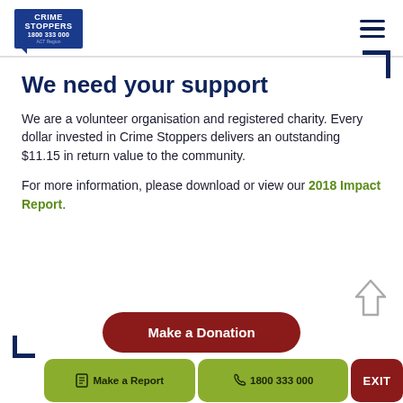[Figure (logo): Crime Stoppers logo with blue background, text 'CRIME STOPPERS 1800 333 000 ACT Region']
[Figure (other): Hamburger menu icon (three horizontal lines)]
We need your support
We are a volunteer organisation and registered charity. Every dollar invested in Crime Stoppers delivers an outstanding $11.15 in return value to the community.
For more information, please download or view our 2018 Impact Report.
Make a Donation
Make a Report
1800 333 000
EXIT